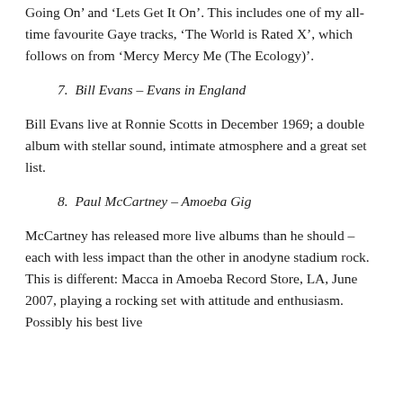Going On' and 'Lets Get It On'. This includes one of my all-time favourite Gaye tracks, 'The World is Rated X', which follows on from 'Mercy Mercy Me (The Ecology)'.
7.  Bill Evans – Evans in England
Bill Evans live at Ronnie Scotts in December 1969; a double album with stellar sound, intimate atmosphere and a great set list.
8.  Paul McCartney – Amoeba Gig
McCartney has released more live albums than he should – each with less impact than the other in anodyne stadium rock. This is different: Macca in Amoeba Record Store, LA, June 2007, playing a rocking set with attitude and enthusiasm. Possibly his best live